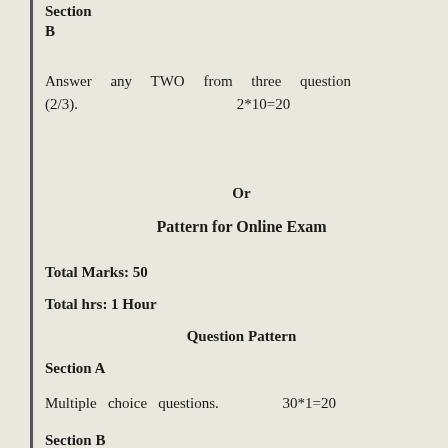Section B
Answer any TWO from three questions (2/3). 2*10=20
Or
Pattern for Online Exam
Total Marks: 50
Total hrs: 1 Hour
Question Pattern
Section A
Multiple choice questions. 30*1=20
Section B